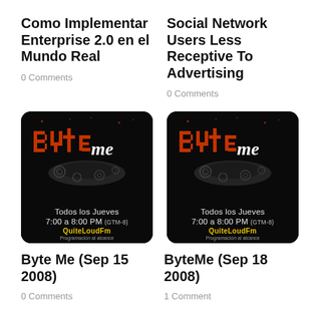Como Implementar Enterprise 2.0 en el Mundo Real
0 Comments
Social Network Users Less Receptive To Advertising
0 Comments
[Figure (illustration): ByteMe radio show logo on black background: stylized 'ByteMe' text with orange pixel letters and white cursive 'me', decorative smoke/swirl graphic, text 'Todos los Jueves 7:00 a 8:00 PM (GTM-8)', QuiteLoudFm branding]
[Figure (illustration): ByteMe radio show logo on black background: stylized 'ByteMe' text with orange pixel letters and white cursive 'me', decorative smoke/swirl graphic, text 'Todos los Jueves 7:00 a 8:00 PM (GTM-8)', QuiteLoudFm branding]
Byte Me (Sep 15 2008)
0 Comments
ByteMe (Sep 18 2008)
1 Comment